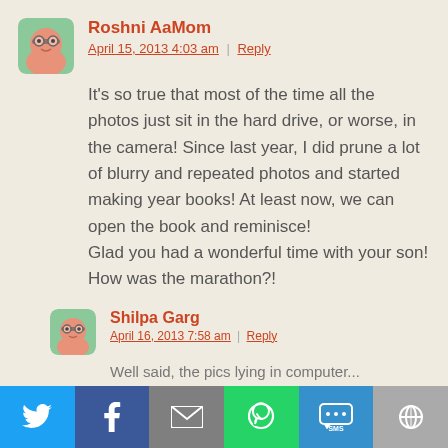[Figure (illustration): Avatar icon for Roshni AaMom - cartoon character with glasses in a rounded square, green/salmon tones]
Roshni AaMom
April 15, 2013 4:03 am | Reply
It's so true that most of the time all the photos just sit in the hard drive, or worse, in the camera! Since last year, I did prune a lot of blurry and repeated photos and started making year books! At least now, we can open the book and reminisce!
Glad you had a wonderful time with your son! How was the marathon?!
[Figure (illustration): Avatar icon for Shilpa Garg - cartoon character with glasses in a rounded square, green/salmon tones]
Shilpa Garg
April 16, 2013 7:58 am | Reply
Well said, the pics lying in computer...
[Figure (infographic): Social sharing bottom bar with Twitter, Facebook, Email, WhatsApp, SMS, and More buttons]